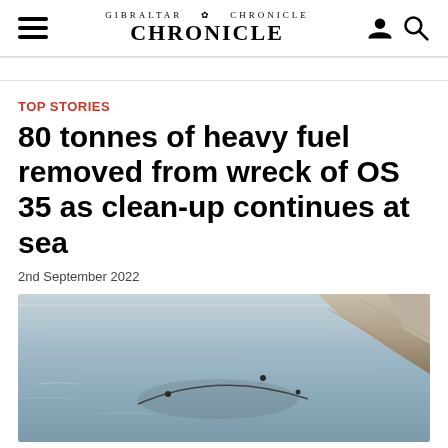GIBRALTAR CHRONICLE
TOP STORIES
80 tonnes of heavy fuel removed from wreck of OS 35 as clean-up continues at sea
2nd September 2022
[Figure (photo): Aerial view of sea with oil containment boom forming a circular arc on the water surface, rocky cliffs visible in the top-right corner]